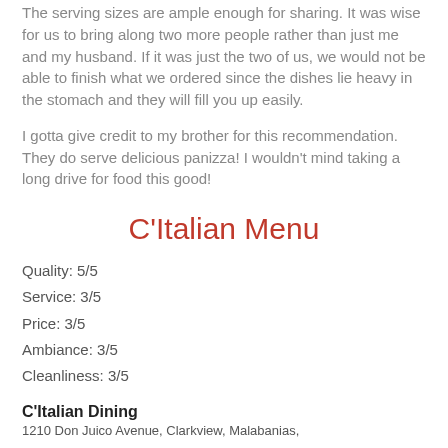The serving sizes are ample enough for sharing. It was wise for us to bring along two more people rather than just me and my husband. If it was just the two of us, we would not be able to finish what we ordered since the dishes lie heavy in the stomach and they will fill you up easily.
I gotta give credit to my brother for this recommendation. They do serve delicious panizza! I wouldn't mind taking a long drive for food this good!
C'Italian Menu
Quality: 5/5
Service: 3/5
Price: 3/5
Ambiance: 3/5
Cleanliness: 3/5
C'Italian Dining
1210 Don Juico Avenue, Clarkview, Malabanias,